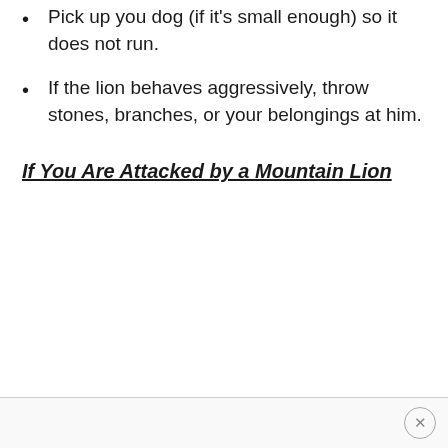Pick up you dog (if it's small enough) so it does not run.
If the lion behaves aggressively, throw stones, branches, or your belongings at him.
If You Are Attacked by a Mountain Lion